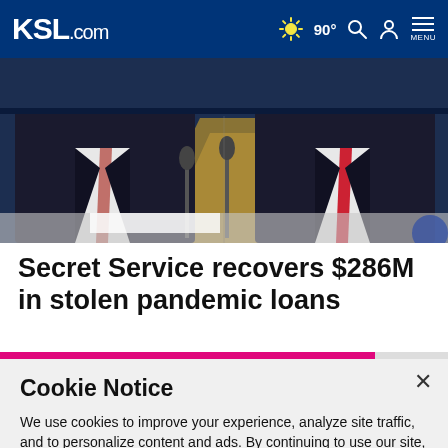KSL.com — 90° [weather icon] [search icon] [user icon] MENU
[Figure (photo): Two men in dark suits with red ties seated at a table, likely at a press conference or government hearing, with microphones visible and a blue/gold background.]
Secret Service recovers $286M in stolen pandemic loans
Cookie Notice
We use cookies to improve your experience, analyze site traffic, and to personalize content and ads. By continuing to use our site, you consent to our use of cookies. Please visit our Terms of Use and Privacy Policy for more information.
Continue